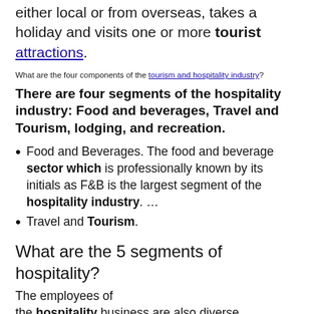either local or from overseas, takes a holiday and visits one or more tourist attractions.
What are the four components of the tourism and hospitality industry?
There are four segments of the hospitality industry: Food and beverages, Travel and Tourism, lodging, and recreation.
Food and Beverages. The food and beverage sector which is professionally known by its initials as F&B is the largest segment of the hospitality industry. …
Travel and Tourism.
What are the 5 segments of hospitality?
The employees of the hospitality business are also diverse